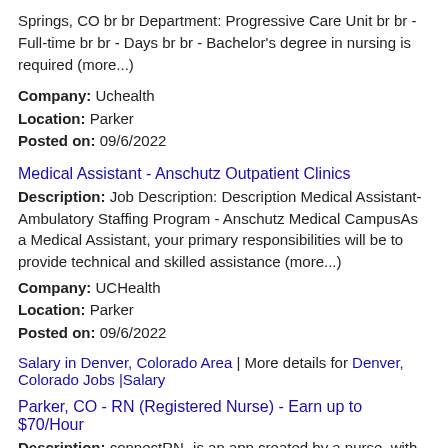Springs, CO br br Department: Progressive Care Unit br br - Full-time br br - Days br br - Bachelor's degree in nursing is required (more...)
Company: Uchealth
Location: Parker
Posted on: 09/6/2022
Medical Assistant - Anschutz Outpatient Clinics
Description: Job Description: Description Medical Assistant-Ambulatory Staffing Program - Anschutz Medical CampusAs a Medical Assistant, your primary responsibilities will be to provide technical and skilled assistance (more...)
Company: UCHealth
Location: Parker
Posted on: 09/6/2022
Salary in Denver, Colorado Area | More details for Denver, Colorado Jobs |Salary
Parker, CO - RN (Registered Nurse) - Earn up to $70/Hour
Description: connectRN -is an app created by a nurse, with nurses and aides' needs in mind. Every day, -connectRN -helps thousands of nurses and aides find opportunities and share their stories with one another. -We're (more...)